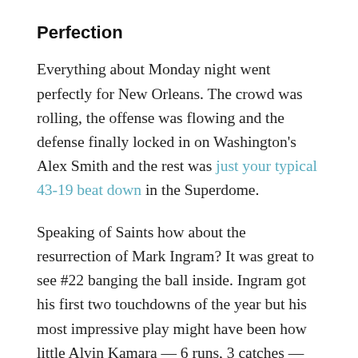Perfection
Everything about Monday night went perfectly for New Orleans. The crowd was rolling, the offense was flowing and the defense finally locked in on Washington’s Alex Smith and the rest was just your typical 43-19 beat down in the Superdome.
Speaking of Saints how about the resurrection of Mark Ingram? It was great to see #22 banging the ball inside. Ingram got his first two touchdowns of the year but his most impressive play might have been how little Alvin Kamara — 6 runs, 3 catches — had to tote